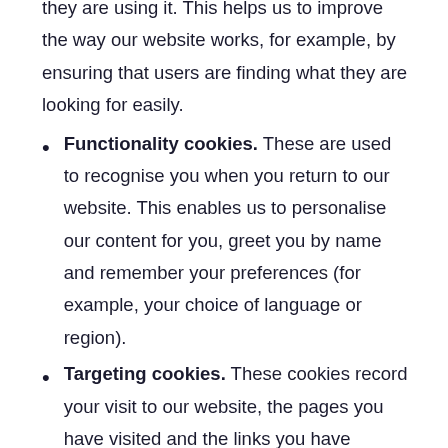they are using it. This helps us to improve the way our website works, for example, by ensuring that users are finding what they are looking for easily.
Functionality cookies. These are used to recognise you when you return to our website. This enables us to personalise our content for you, greet you by name and remember your preferences (for example, your choice of language or region).
Targeting cookies. These cookies record your visit to our website, the pages you have visited and the links you have followed. We will use this information to make our website and the advertising displayed on it more relevant to your interests. We may also share this information with third parties for this purpose.